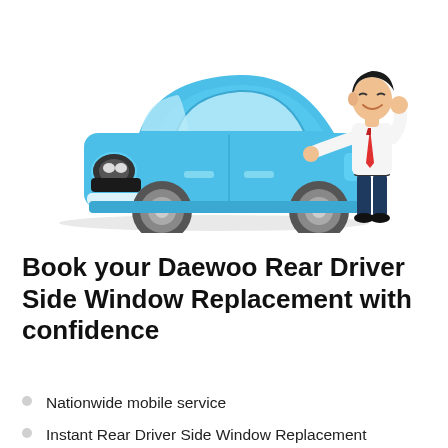[Figure (illustration): Cartoon illustration of a blue compact car with round headlights and a smiling businessman in white shirt and red tie standing beside it, leaning on the car roof with one hand raised]
Book your Daewoo Rear Driver Side Window Replacement with confidence
Nationwide mobile service
Instant Rear Driver Side Window Replacement